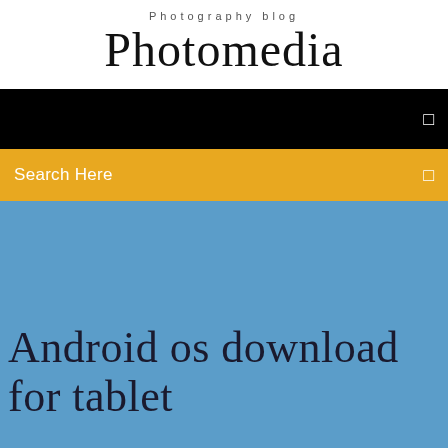Photography blog
Photomedia
[Figure (screenshot): Black navigation bar with a small square icon on the right]
[Figure (screenshot): Orange/yellow search bar with 'Search Here' text and a small icon on the right]
Android os download for tablet